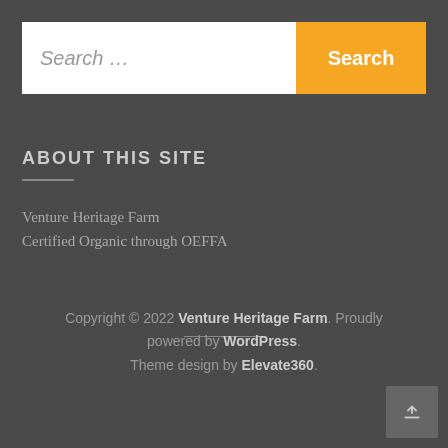[Figure (screenshot): Search bar with white input field showing 'Search ...' placeholder and an orange button labeled 'Search']
ABOUT THIS SITE
Venture Heritage Farm
Certified Organic through OEFFA
Copyright © 2022 Venture Heritage Farm. Proudly powered by WordPress. Theme design by Elevate360.